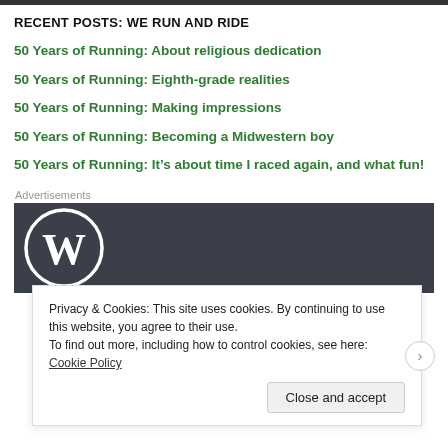RECENT POSTS: WE RUN AND RIDE
50 Years of Running: About religious dedication
50 Years of Running: Eighth-grade realities
50 Years of Running: Making impressions
50 Years of Running: Becoming a Midwestern boy
50 Years of Running: It’s about time I raced again, and what fun!
Advertisements
[Figure (logo): WordPress logo (white W in circle) on dark grey/navy background]
Privacy & Cookies: This site uses cookies. By continuing to use this website, you agree to their use.
To find out more, including how to control cookies, see here: Cookie Policy
Close and accept